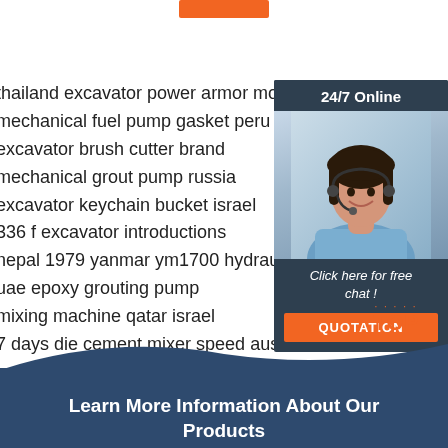[Figure (other): Orange button at top center]
thailand excavator power armor mods
mechanical fuel pump gasket peru
excavator brush cutter brand
mechanical grout pump russia
excavator keychain bucket israel
336 f excavator introductions
nepal 1979 yanmar ym1700 hydraulic pump
uae epoxy grouting pump
mixing machine qatar israel
7 days die cement mixer speed australia
cement mixer emoji israel
philippines kid excavator sit on
[Figure (infographic): Sidebar with 24/7 Online header, woman with headset photo, Click here for free chat text, and QUOTATION orange button]
[Figure (logo): TOP logo in orange with dots above]
Learn More Information About Our Products